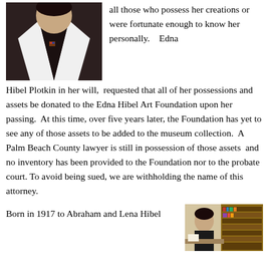[Figure (photo): Portrait photo of a woman in a dark blazer with white lapels and a small brooch]
all those who possess her creations or were fortunate enough to know her personally.    Edna Hibel Plotkin in her will,  requested that all of her possessions and assets be donated to the Edna Hibel Art Foundation upon her passing.  At this time, over five years later, the Foundation has yet to see any of those assets to be added to the museum collection.  A Palm Beach County lawyer is still in possession of those assets  and no inventory has been provided to the Foundation nor to the probate court. To avoid being sued, we are withholding the name of this attorney.
Born in 1917 to Abraham and Lena Hibel
[Figure (photo): Photo of a person seated at a desk with bookshelves in the background]